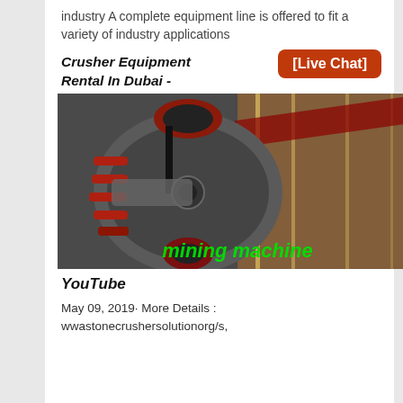industry A complete equipment line is offered to fit a variety of industry applications
Crusher Equipment Rental In Dubai -
[Live Chat]
[Figure (photo): Industrial crusher equipment machine with red and grey mechanical components, belt conveyor visible in background, with green text overlay reading 'mining machine']
YouTube
May 09, 2019· More Details : wwastonecrushersolutionorg/s,